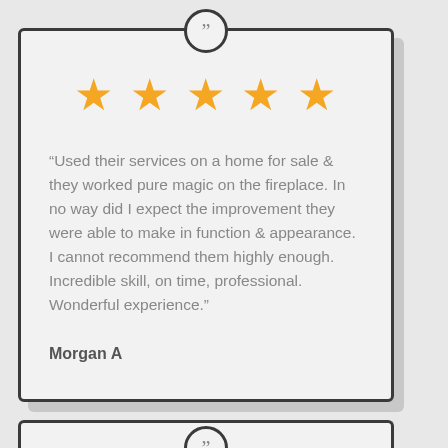[Figure (other): Five orange stars rating (5 out of 5)]
“Used their services on a home for sale & they worked pure magic on the fireplace. In no way did I expect the improvement they were able to make in function & appearance. I cannot recommend them highly enough. Incredible skill, on time, professional. Wonderful experience.”
Morgan A